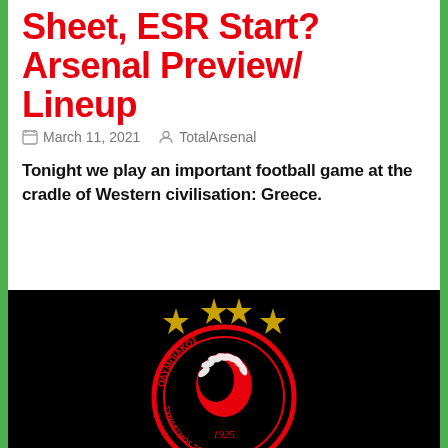Anaku First on Team Sheet, ESR Start? Arsenal Preview/ Lineup
March 11, 2021   TotalArsenal
Tonight we play an important football game at the cradle of Western civilisation: Greece.
[Figure (logo): Olympiacos FC badge/logo on black background — red and white circular crest with a profile of a head wearing a laurel wreath, Greek text reading ΟΛΥΜΠΙΑΚΟΣ and ΣΥΝΔΕΣΜΟΣ ΤΩΝ ΠΕΙΡΑΙΩΣ around the circle, year 1925 at the bottom, and three gold stars above the crest.]